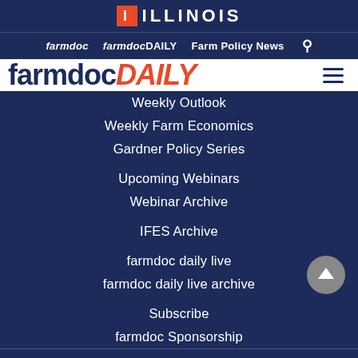I ILLINOIS
farmdoc  farmdocDAILY  Farm Policy News
[Figure (logo): farmdocDAILY logo — farmdoc in dark navy bold, DAILY in orange italic, on white background with hamburger menu icon]
Weekly Outlook
Weekly Farm Economics
Gardner Policy Series
Upcoming Webinars
Webinar Archive
IFES Archive
farmdoc daily live
farmdoc daily live archive
Subscribe
farmdoc Sponsorship